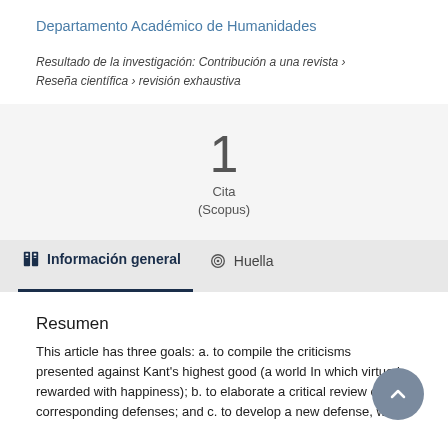Departamento Académico de Humanidades
Resultado de la investigación: Contribución a una revista › Reseña científica › revisión exhaustiva
[Figure (infographic): Citation count display showing '1 Cita (Scopus)' on a light gray background]
Información general
Huella
Resumen
This article has three goals: a. to compile the criticisms presented against Kant's highest good (a world In which virtue is rewarded with happiness); b. to elaborate a critical review of the corresponding defenses; and c. to develop a new defense, with